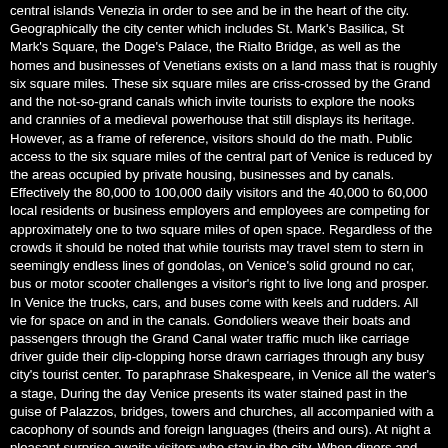central islands Venezia in order to see and be in the heart of the city. Geographically the city center which includes St. Mark's Basilica, St Mark's Square, the Doge's Palace, the Rialto Bridge, as well as the homes and businesses of Venetians exists on a land mass that is roughly six square miles. These six square miles are criss-crossed by the Grand and the not-so-grand canals which invite tourists to explore the nooks and crannies of a medieval powerhouse that still displays its heritage. However, as a frame of reference, visitors should do the math. Public access to the six square miles of the central part of Venice is reduced by the areas occupied by private housing, businesses and by canals. Effectively the 80,000 to 100,000 daily visitors and the 40,000 to 60,000 local residents or business employers and employees are competing for approximately one to two square miles of open space. Regardless of the crowds it should be noted that while tourists may travel stem to stern in seemingly endless lines of gondolas, on Venice's solid ground no car, bus or motor scooter challenges a visitor's right to live long and prosper. In Venice the trucks, cars, and buses come with keels and rudders. All vie for space on and in the canals. Gondoliers weave their boats and passengers through the Grand Canal water traffic much like carriage driver guide their clip-clopping horse drawn carriages through any busy city's tourist center. To paraphrase Shakespeare, in Venice all the water's a stage, During the day Venice presents its water stained past in the guise of Palazzos, bridges, towers and churches, all accompanied with a cacophony of sounds and foreign languages (theirs and ours). At night a pleasant surprise awaits visitors who stay in the city. When diners and partiers head home residents and tourists experience Silence, perhaps modern Venice's most subtle reminder of renaissance times, Silence, no horns, no engine noises, no canal traffic, and minimum ambient light. Consequently, from an